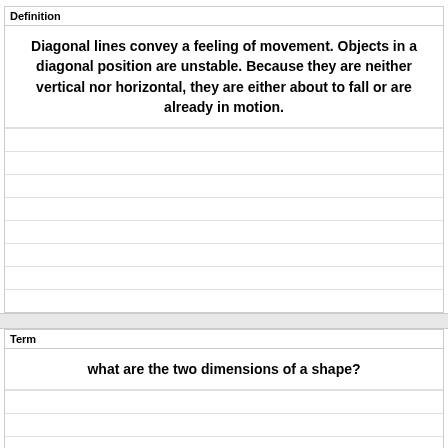Definition
Diagonal lines convey a feeling of movement. Objects in a diagonal position are unstable. Because they are neither vertical nor horizontal, they are either about to fall or are already in motion.
Term
what are the two dimensions of a shape?